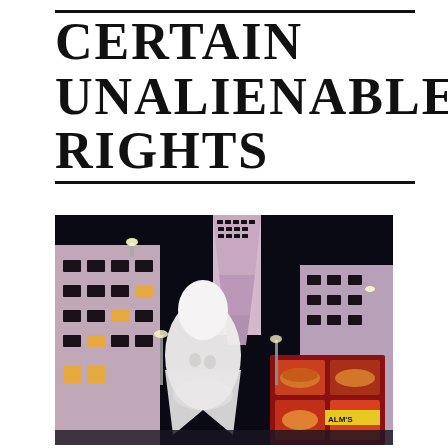CERTAIN UNALIENABLE RIGHTS
[Figure (photo): Night scene at Rockefeller Center in New York City. A large illuminated pink/purple skyscraper (30 Rock) rises against a dark sky. In the foreground, a large white ghost-like sculpture and a colorful food cart with images of hot dogs and burgers. Buildings flank either side with lit windows.]